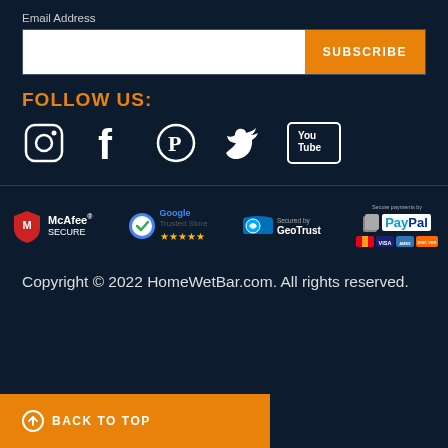Email Address
SUBSCRIBE
FOLLOW US:
[Figure (illustration): Social media icons: Instagram, Facebook, Pinterest, Twitter, YouTube]
[Figure (illustration): Security badge logos: McAfee SECURE, Google Trusted Store, Secured by GeoTrust, Secure payments by PayPal with Mastercard, Visa, AmEx, Discover]
Copyright © 2022 HomeWetBar.com. All rights reserved.
BACK TO TOP